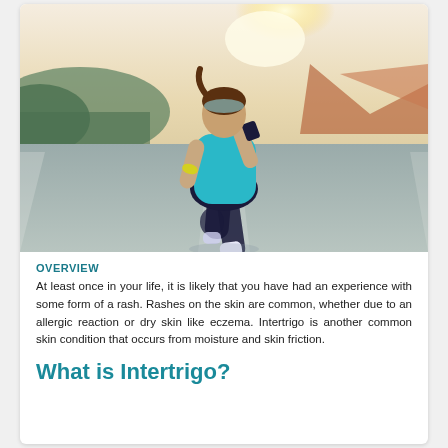[Figure (photo): A runner seen from behind, wearing a teal tank top and black shorts with bright green shoes, running on a road at sunset/sunrise with warm golden light and hills in the background.]
OVERVIEW
At least once in your life, it is likely that you have had an experience with some form of a rash. Rashes on the skin are common, whether due to an allergic reaction or dry skin like eczema. Intertrigo is another common skin condition that occurs from moisture and skin friction.
What is Intertrigo?